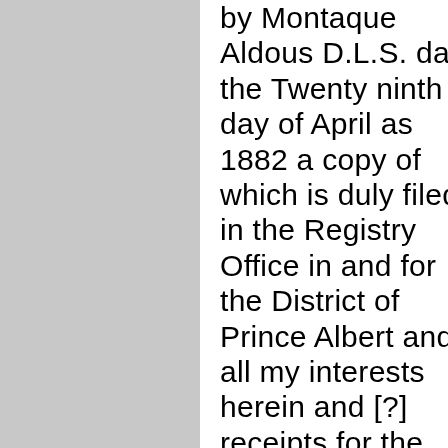by Montaque Aldous D.L.S. date the Twenty ninth day of April as 1882 a copy of which is duly filed in the Registry Office in and for the District of Prince Albert and all my interests herein and [?] receipts for the purchase money and [?] seal and execute and as my act and deed, acts and deeds, deliver good sufficient and valid deed of conveyance and assurance for conveyance the said premises or